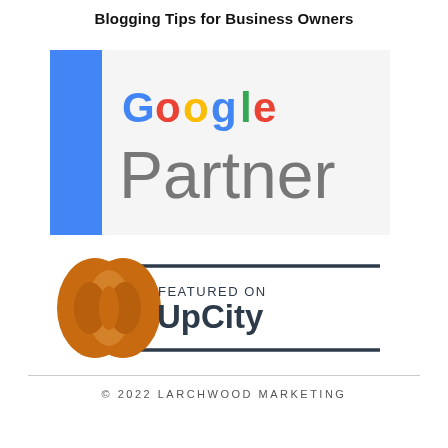Blogging Tips for Business Owners
[Figure (logo): Google Partner logo with blue vertical bar on left and 'Google' in multicolor text above 'Partner' in gray]
[Figure (logo): Featured on UpCity badge with orange intertwined circles icon and text 'FEATURED ON UpCity' between two horizontal dark lines]
© 2022 LARCHWOOD MARKETING